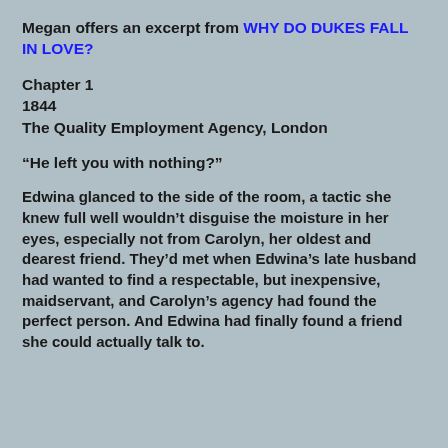Megan offers an excerpt from WHY DO DUKES FALL IN LOVE?
Chapter 1
1844
The Quality Employment Agency, London
“He left you with nothing?”
Edwina glanced to the side of the room, a tactic she knew full well wouldn’t disguise the moisture in her eyes, especially not from Carolyn, her oldest and dearest friend. They’d met when Edwina’s late husband had wanted to find a respectable, but inexpensive, maidservant, and Carolyn’s agency had found the perfect person. And Edwina had finally found a friend she could actually talk to.